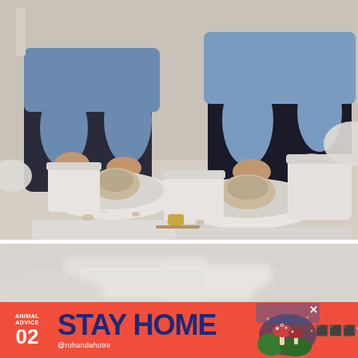[Figure (photo): Two people working on pottery wheels in a studio, shaping clay with their hands. Multiple white pottery wheels and buckets visible on a light wooden surface. Bright, airy studio setting.]
[Figure (photo): Close-up blurred view of pottery wheels and a white flat board on a light wooden surface in a pottery studio.]
[Figure (infographic): Advertisement banner with red-orange background. Left side: 'ANIMAL ADVICE 02' in white. Center: 'STAY HOME' in large dark blue bold text. Bottom center: '@rohandahotre' handle in white. Right side: colorful illustrated mushroom/creature graphic. Far right: 'III°' text in white. Close button X in upper right area.]